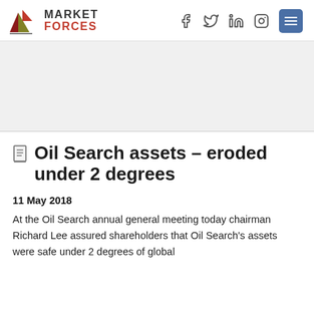MARKET FORCES
Oil Search assets – eroded under 2 degrees
11 May 2018
At the Oil Search annual general meeting today chairman Richard Lee assured shareholders that Oil Search's assets were safe under 2 degrees of global